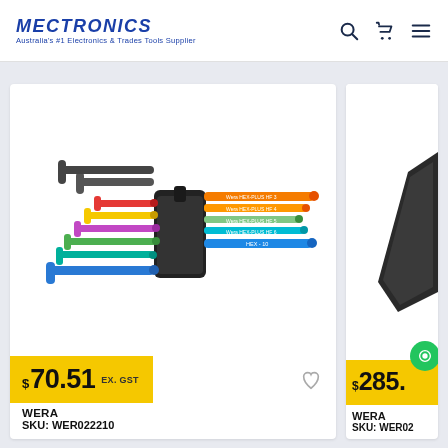MECTRONICS | Australia's #1 Electronics & Trades Tools Supplier
[Figure (photo): Colorful hex key / Allen wrench set with multiple sizes in orange, yellow, pink, purple, green, teal, and blue, arranged in a black plastic holder]
$70.51 EX. GST
WERA
SKU: WER022210
[Figure (photo): Partially visible second product card showing a dark-colored tool and price badge showing $285.]
WERA
SKU: WER02